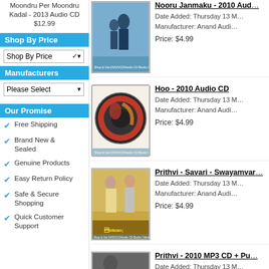Moondru Per Moondru Kadal - 2013 Audio CD $12.99
Shop By Price
Shop By Price (dropdown)
Manufacturers
Please Select (dropdown)
Our Promise
Free Shipping
Brand New & Sealed
Genuine Products
Easy Return Policy
Safe & Secure Shopping
Quick Customer Support
[Figure (photo): Nooru Janmaku movie cover - couple embracing]
Nooru Janmaku - 2010 Aud...
Date Added: Thursday 13 M...
Manufacturer: Anand Audi...
Price: $4.99
[Figure (photo): Hoo - 2010 Audio CD circular disc image]
Hoo - 2010 Audio CD
Date Added: Thursday 13 M...
Manufacturer: Anand Audi...
Price: $4.99
[Figure (photo): Prithvi - Savari - Swayamvar movie cover]
Prithvi - Savari - Swayamvar...
Date Added: Thursday 13 M...
Manufacturer: Anand Audi...
Price: $4.99
[Figure (photo): Prithvi - 2010 MP3 CD partial view]
Prithvi - 2010 MP3 CD + Pu...
Date Added: Thursday 13 M...